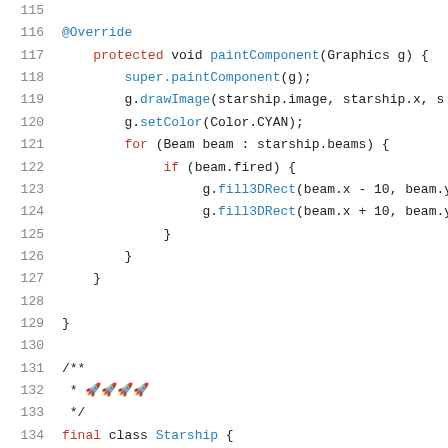Code listing lines 115-136: Java paintComponent and Starship class definition
115
116  @Override
117  protected void paintComponent(Graphics g) {
118       super.paintComponent(g);
119       g.drawImage(starship.image, starship.x, s
120       g.setColor(Color.CYAN);
121       for (Beam beam : starship.beams) {
122            if (beam.fired) {
123                 g.fill3DRect(beam.x - 10, beam.y,
124                 g.fill3DRect(beam.x + 10, beam.y,
125            }
126       }
127  }
128
129  }
130
131  /**
132   * 🚀🚀🚀🚀
133   */
134  final class Starship {
135
136       static final int WIDTH = 48;